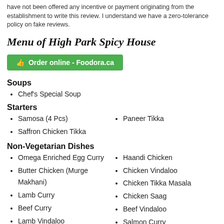have not been offered any incentive or payment originating from the establishment to write this review. I understand we have a zero-tolerance policy on fake reviews.
Menu of High Park Spicy House
👍 Order online - Foodora.ca
Soups
Chef's Special Soup
Starters
Samosa (4 Pcs)
Paneer Tikka
Saffron Chicken Tikka
Non-Vegetarian Dishes
Omega Enriched Egg Curry
Haandi Chicken
Butter Chicken (Murge Makhani)
Chicken Vindaloo
Lamb Curry
Chicken Tikka Masala
Beef Curry
Chicken Saag
Lamb Vindaloo
Beef Vindaloo
Kochin Chicken Curry
Salmon Curry
Shrimp Curry
Vegetable Dishes
Dhal Thadka
Channa Masala
Okra Masala
Saag Aloo
Aloo Vindaloo
Dhal Makhini (Black Dhal)